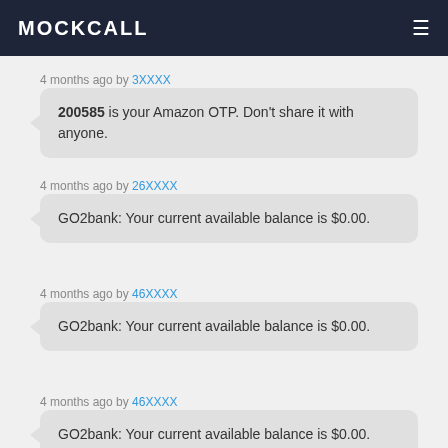MOCKCALL
4 months ago by 3XXXX
200585 is your Amazon OTP. Don't share it with anyone.
4 months ago by 26XXXX
GO2bank: Your current available balance is $0.00.
4 months ago by 46XXXX
GO2bank: Your current available balance is $0.00.
4 months ago by 46XXXX
GO2bank: Your current available balance is $0.00.
4 months ago by 46XXXX